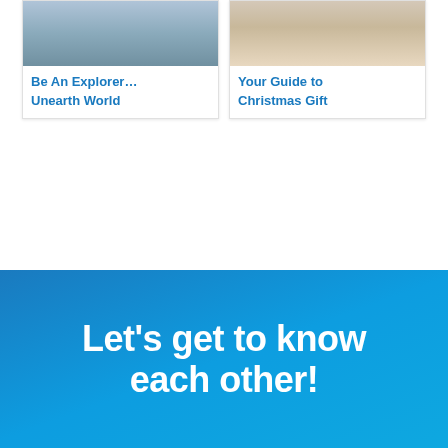[Figure (photo): Two content cards side by side. Left card shows a travel/explorer themed image with blue-gray tones and the text 'Be An Explorer... Unearth World'. Right card shows a Christmas gift guide image with warm tones and the text 'Your Guide to Christmas Gift'.]
Be An Explorer... Unearth World
Your Guide to Christmas Gift
Let's get to know each other!